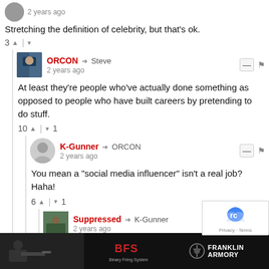2 years ago
Stretching the definition of celebrity, but that's ok.
3 ▲ | ▾
ORCON → Steve
2 years ago
At least they're people who've actually done something as opposed to people who have built careers by pretending to do stuff.
10 ▲ | ▾ 1
K-Gunner → ORCON
2 years ago
You mean a "social media influencer" isn't a real job? Haha!
6 ▲ | ▾ 1
Suppressed → K-Gunner
2 years ago
I can't hate on someone who figured out a harmle...
to ...
If i...
[Figure (screenshot): Franklin Armory advertisement banner with shooter image and SFS logo]
Privacy · Terms